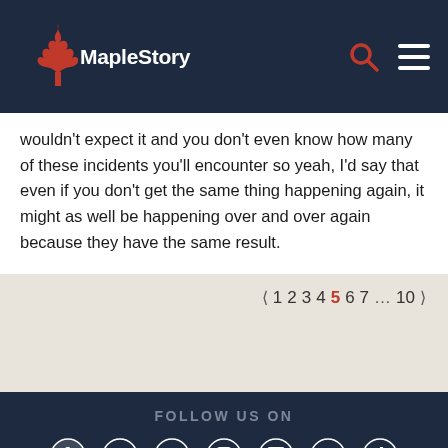MapleStory
wouldn't expect it and you don't even know how many of these incidents you'll encounter so yeah, I'd say that even if you don't get the same thing happening again, it might as well be happening over and over again because they have the same result.
Pagination: < 1 2 3 4 5 6 7 ... 10 >
FOLLOW US ON — Facebook, Twitter, YouTube, Instagram, Twitch, Discord, TikTok